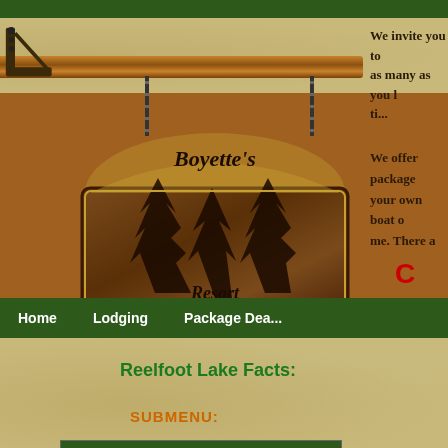[Figure (illustration): Boyette's Resort wooden hanging sign logo with pine trees silhouette, suspended by chains from a wooden beam with bracket]
We invite you to as many as you l ti...
We offer package your own boat o me. There a
C
Home   Lodging   Package Dea...
Reelfoot Lake Facts:
SUBMENU:
Rates
Reelfoot Fishing
Fishing License